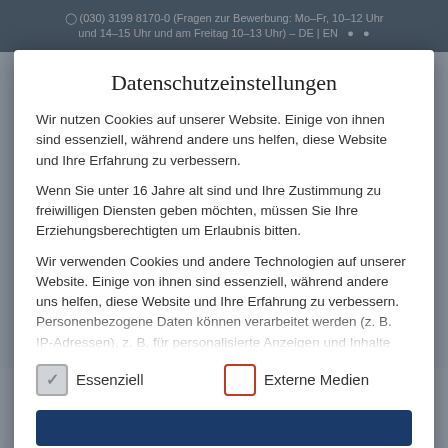(030) 3199 8170-0 (Fragen zur Bewerbung: Mo–Fr, 10–12 Uhr und 14–15 Uhr und am Freitag 10–13 Uhr) – DE | EN
Datenschutzeinstellungen
Wir nutzen Cookies auf unserer Website. Einige von ihnen sind essenziell, während andere uns helfen, diese Website und Ihre Erfahrung zu verbessern.
Wenn Sie unter 16 Jahre alt sind und Ihre Zustimmung zu freiwilligen Diensten geben möchten, müssen Sie Ihre Erziehungsberechtigten um Erlaubnis bitten.
Wir verwenden Cookies und andere Technologien auf unserer Website. Einige von ihnen sind essenziell, während andere uns helfen, diese Website und Ihre Erfahrung zu verbessern. Personenbezogene Daten können verarbeitet werden (z. B. IP-Adressen), z. B. für personalisierte Anzeigen und Inhalte oder
Essenziell
Externe Medien
Prof. Dr. Michael Brenner ...
Dr. Christine Brinck